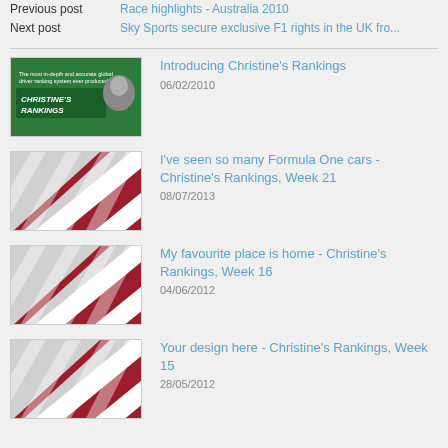Previous post	Race highlights - Australia 2010
Next post	Sky Sports secure exclusive F1 rights in the UK fro...
[Figure (photo): Christine's Rankings logo thumbnail - green background with woman's face]
Introducing Christine's Rankings
06/02/2010
[Figure (photo): Diagonal red and white striped racing thumbnail]
I've seen so many Formula One cars - Christine's Rankings, Week 21
08/07/2013
[Figure (photo): Diagonal red and white striped racing thumbnail]
My favourite place is home - Christine's Rankings, Week 16
04/06/2012
[Figure (photo): Diagonal red and white striped racing thumbnail]
Your design here - Christine's Rankings, Week 15
28/05/2012